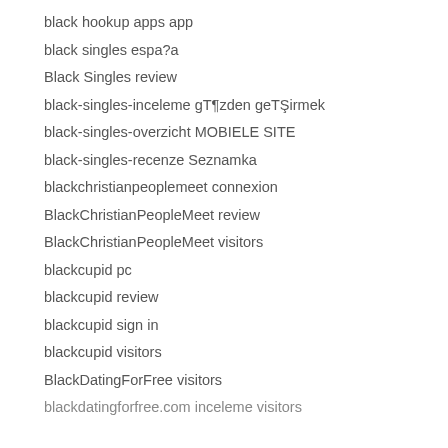black hookup apps app
black singles espa?a
Black Singles review
black-singles-inceleme gözden geçirmek
black-singles-overzicht MOBIELE SITE
black-singles-recenze Seznamka
blackchristianpeoplemeet connexion
BlackChristianPeopleMeet review
BlackChristianPeopleMeet visitors
blackcupid pc
blackcupid review
blackcupid sign in
blackcupid visitors
BlackDatingForFree visitors
blackdatingforfree.com inceleme visitors